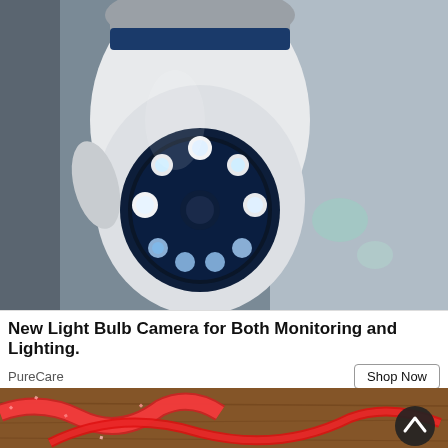[Figure (photo): Close-up photo of a white smart security camera with light bulb form factor, showing glowing blue LED ring around the camera lens, mounted from above against a light grey wall background]
New Light Bulb Camera for Both Monitoring and Lighting.
PureCare
Shop Now
[Figure (photo): Bottom strip showing red glittery ribbon and red satin ribbon on a wooden surface, with a dark circular scroll-up button in the lower right corner]